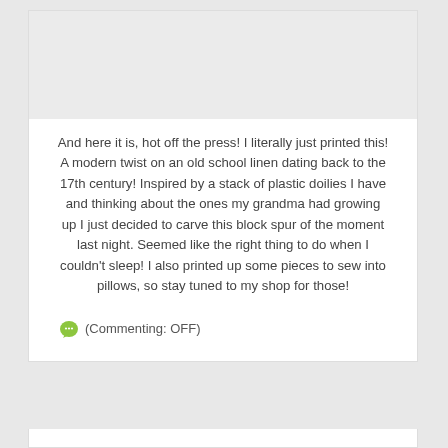[Figure (photo): Gray image placeholder area at top of card]
And here it is, hot off the press! I literally just printed this! A modern twist on an old school linen dating back to the 17th century! Inspired by a stack of plastic doilies I have and thinking about the ones my grandma had growing up I just decided to carve this block spur of the moment last night. Seemed like the right thing to do when I couldn't sleep! I also printed up some pieces to sew into pillows, so stay tuned to my shop for those!
(Commenting: OFF)